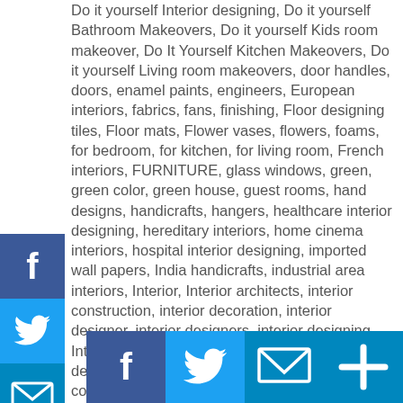Do it yourself Interior designing, Do it yourself Bathroom Makeovers, Do it yourself Kids room makeover, Do It Yourself Kitchen Makeovers, Do it yourself Living room makeovers, door handles, doors, enamel paints, engineers, European interiors, fabrics, fans, finishing, Floor designing tiles, Floor mats, Flower vases, flowers, foams, for bedroom, for kitchen, for living room, French interiors, FURNITURE, glass windows, green, green color, green house, guest rooms, hand designs, handicrafts, hangers, healthcare interior designing, hereditary interiors, home cinema interiors, hospital interior designing, imported wall papers, India handicrafts, industrial area interiors, Interior, Interior architects, interior construction, interior decoration, interior designer, interior designers, interior designing, Interior designing and decoration, interior designing company, interior designing construction, Interior designing for floors, interior designing ideas, interior engineers, interior fittings, interiors, Italian interior designs, Kids room interior designing, Kids room interiors, Kids room makeovers, Kitchen accessories, Kitchen appliances, Kitchen fittings, Kitchen interior designing, Kitchen makeovers, lighting, Lighting source, living room
[Figure (other): Facebook share button icon (blue square with white F)]
[Figure (other): Twitter share button icon (blue square with white bird)]
[Figure (other): Email share button icon (blue square with white envelope)]
[Figure (other): More/share button icon (blue square with white plus)]
[Figure (other): Bottom row: Facebook, Twitter, Email, More share button icons]
[Figure (other): Bottom row share buttons (Facebook, Twitter, Email, Plus)]